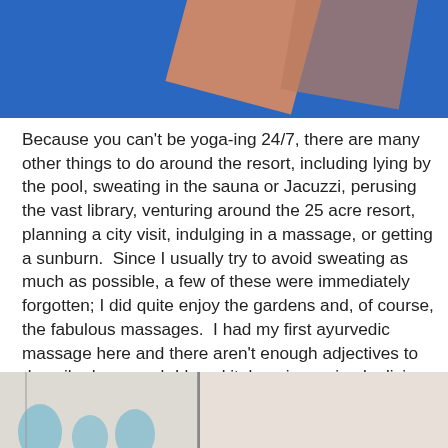[Figure (photo): Top portion of a photo showing a blue background with a brown/terracotta colored square object at an angle]
Because you can't be yoga-ing 24/7, there are many other things to do around the resort, including lying by the pool, sweating in the sauna or Jacuzzi, perusing the vast library, venturing around the 25 acre resort, planning a city visit, indulging in a massage, or getting a sunburn.  Since I usually try to avoid sweating as much as possible, a few of these were immediately forgotten; I did quite enjoy the gardens and, of course, the fabulous massages.  I had my first ayurvedic massage here and there aren't enough adjectives to describe how much I loved it: luxurious, simply divine, to-die-for, sensual, the best massage I have ever had.
[Figure (photo): Bottom portion of a photo showing what appears to be a room interior with blue floral/leaf pattern on the left side and white/cream surface on the right]